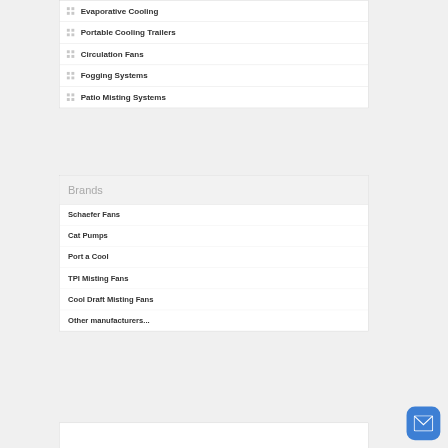Evaporative Cooling
Portable Cooling Trailers
Circulation Fans
Fogging Systems
Patio Misting Systems
Brands
Schaefer Fans
Cat Pumps
Port a Cool
TPI Misting Fans
Cool Draft Misting Fans
Other manufacturers...